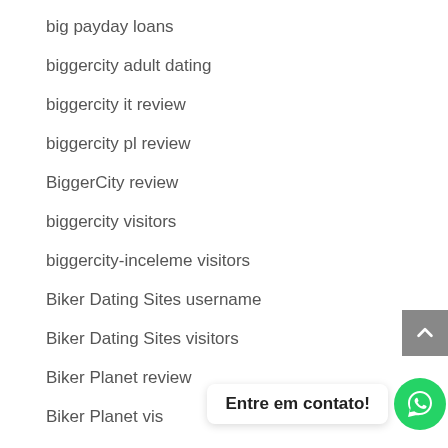big payday loans
biggercity adult dating
biggercity it review
biggercity pl review
BiggerCity review
biggercity visitors
biggercity-inceleme visitors
Biker Dating Sites username
Biker Dating Sites visitors
Biker Planet review
Biker Planet visitors
biker-chat-rooms dating
bikerplanet es review
Entre em contato!